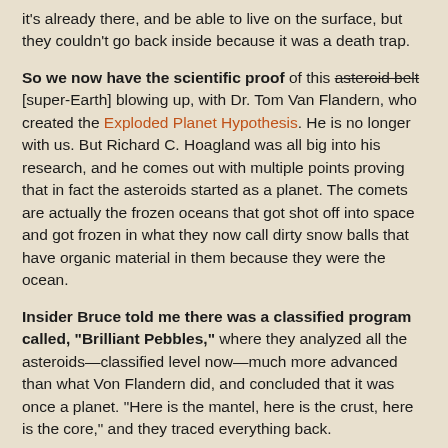it's already there, and be able to live on the surface, but they couldn't go back inside because it was a death trap.
So we now have the scientific proof of this asteroid belt [super-Earth] blowing up, with Dr. Tom Van Flandern, who created the Exploded Planet Hypothesis. He is no longer with us. But Richard C. Hoagland was all big into his research, and he comes out with multiple points proving that in fact the asteroids started as a planet. The comets are actually the frozen oceans that got shot off into space and got frozen in what they now call dirty snow balls that have organic material in them because they were the ocean.
Insider Bruce told me there was a classified program called, "Brilliant Pebbles," where they analyzed all the asteroids—classified level now—much more advanced than what Von Flandern did, and concluded that it was once a planet. "Here is the mantel, here is the crust, here is the core," and they traced everything back.
When I spoke to Corey, one of the things that I said was, "do you know anything about "Brilliant Pebbles?" He goes